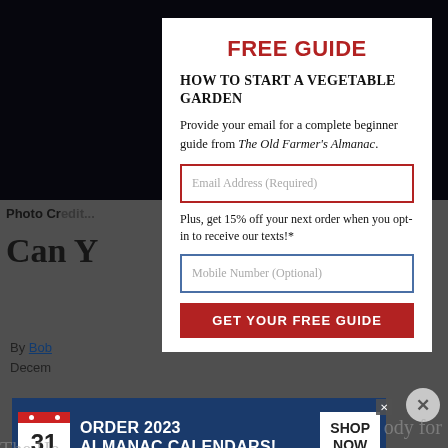[Figure (screenshot): Background page showing a dark starry night sky photo and partial article text 'Can Y...' with author 'Bob' and 'Decem...' date. Bottom shows faded 'The He...' text.]
FREE GUIDE
HOW TO START A VEGETABLE GARDEN
Provide your email for a complete beginner guide from The Old Farmer's Almanac.
Email Address (Required)
Plus, get 15% off your next order when you opt-in to receive our texts!*
Mobile Number (Optional)
GET YOUR FREE GUIDE
[Figure (infographic): Advertisement banner: ORDER 2023 ALMANAC CALENDARS! with calendar icon showing 31 and SHOP NOW button]
You will also be subscribed to our Almanac Companion Newsletter. We will never share your information within